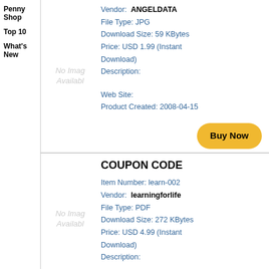Penny Shop
Top 10
What's New
[Figure (other): No Image Available placeholder for first product]
Vendor:  ANGELDATA
File Type: JPG
Download Size: 59 KBytes
Price: USD 1.99 (Instant Download)
Description:
Web Site:
Product Created: 2008-04-15
Buy Now
COUPON CODE
[Figure (other): No Image Available placeholder for second product]
Item Number: learn-002
Vendor:  learningforlife
File Type: PDF
Download Size: 272 KBytes
Price: USD 4.99 (Instant Download)
Description: